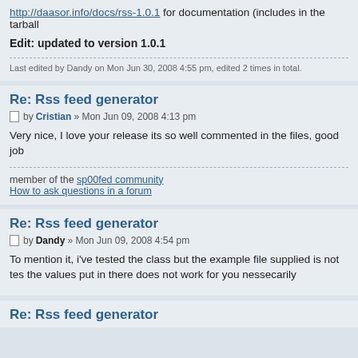http://daasor.info/docs/rss-1.0.1 for documentation (includes in the tarball
Edit: updated to version 1.0.1
Last edited by Dandy on Mon Jun 30, 2008 4:55 pm, edited 2 times in total.
Re: Rss feed generator
Post by Cristian » Mon Jun 09, 2008 4:13 pm
Very nice, I love your release its so well commented in the files, good job
member of the sp00fed community
How to ask questions in a forum
Re: Rss feed generator
Post by Dandy » Mon Jun 09, 2008 4:54 pm
To mention it, i've tested the class but the example file supplied is not tes the values put in there does not work for you nessecarily
Re: Rss feed generator